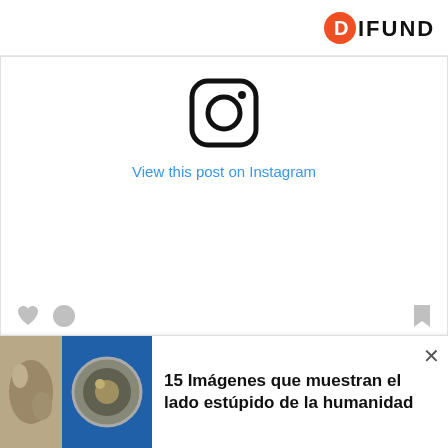DIFUNDIR
[Figure (screenshot): Instagram embed placeholder with Instagram camera logo icon and 'View this post on Instagram' link in blue, with heart, circle and bookmark icons at bottom]
Bouille de chipie ???#🙏🏻 #ig_kids #mamapo_official
#mamanoko #kidmodel #kids_japan
[Figure (photo): Advertisement banner showing two images (animal/texture on left, metallic circular object on right) with text '15 Imágenes que muestran el lado estúpido de la humanidad']
15 Imágenes que muestran el lado estúpido de la humanidad